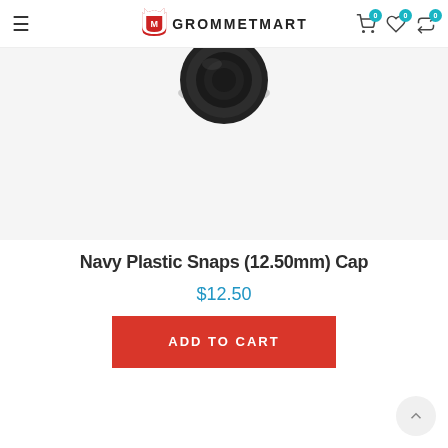GROMMETMART — navigation header with cart, wishlist, compare icons
[Figure (photo): Black circular navy plastic snap cap (12.50mm), viewed from above on a light gray background]
Navy Plastic Snaps (12.50mm) Cap
$12.50
ADD TO CART